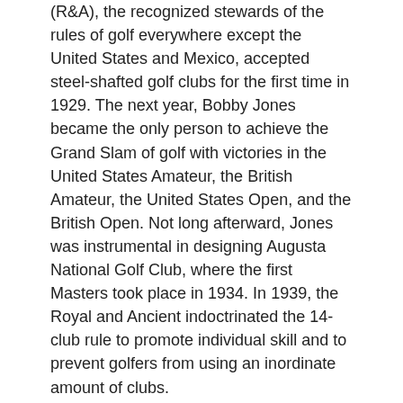(R&A), the recognized stewards of the rules of golf everywhere except the United States and Mexico, accepted steel-shafted golf clubs for the first time in 1929. The next year, Bobby Jones became the only person to achieve the Grand Slam of golf with victories in the United States Amateur, the British Amateur, the United States Open, and the British Open. Not long afterward, Jones was instrumental in designing Augusta National Golf Club, where the first Masters took place in 1934. In 1939, the Royal and Ancient indoctrinated the 14-club rule to promote individual skill and to prevent golfers from using an inordinate amount of clubs.
Women shared the golf spotlight with the men beginning in 1932 when the United States team defeated the team of Great Britain and Ireland in the Curtis Cup at the Wentworth Club in Surrey, England.   The United States Women's Open was staged for the first time in 1946 at Spokane Country Club in Washington and four years later the Ladies' Professional Golfers' Association (LPGA) was formed.
(partial paragraph continues below)